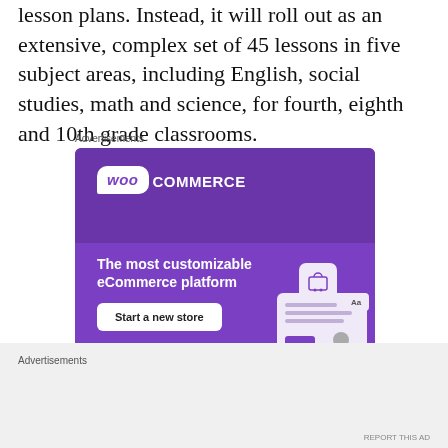lesson plans. Instead, it will roll out as an extensive, complex set of 45 lessons in five subject areas, including English, social studies, math and science, for fourth, eighth and 10th grade classrooms.
Advertisements
[Figure (screenshot): WooCommerce advertisement banner: purple background with WooCommerce logo, tagline 'The most customizable eCommerce platform', and a 'Start a new store' button along with shopping UI mockups.]
Advertisements